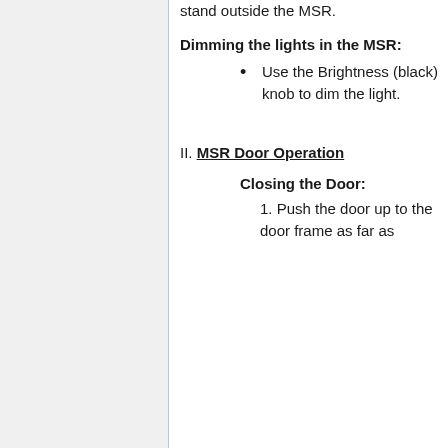stand outside the MSR.
Dimming the lights in the MSR:
Use the Brightness (black) knob to dim the light.
II. MSR Door Operation
Closing the Door:
1. Push the door up to the door frame as far as